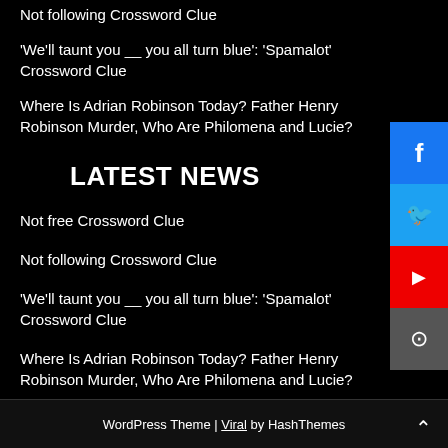Not following Crossword Clue
'We'll taunt you __ you all turn blue': 'Spamalot' Crossword Clue
Where Is Adrian Robinson Today? Father Henry Robinson Murder, Who Are Philomena and Lucie?
LATEST NEWS
Not free Crossword Clue
Not following Crossword Clue
'We'll taunt you __ you all turn blue': 'Spamalot' Crossword Clue
Where Is Adrian Robinson Today? Father Henry Robinson Murder, Who Are Philomena and Lucie?
WordPress Theme | Viral by HashThemes